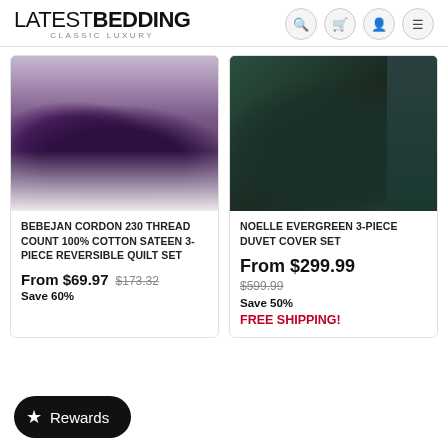LATEST BEDDING CLASSIC LUXURY
[Figure (photo): Purple/violet bedding set with quilt on a bed in a bedroom setting]
BEBEJAN CORDON 230 THREAD COUNT 100% COTTON SATEEN 3-PIECE REVERSIBLE QUILT SET
From $69.97  $173.32
Save 60%
[Figure (photo): Dark green duvet cover set on a bed with Christmas tree in background]
NOELLE EVERGREEN 3-PIECE DUVET COVER SET
From $299.99
$599.99
Save 50%
FREE SHIPPING!